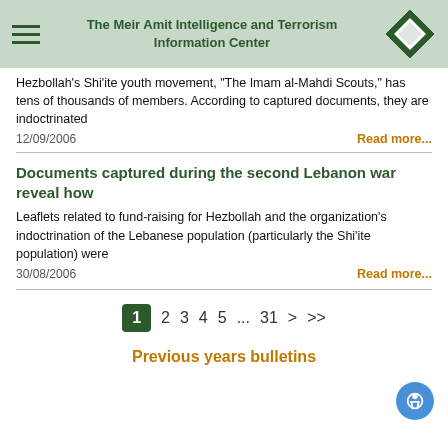The Meir Amit Intelligence and Terrorism Information Center
Hezbollah's Shi'ite youth movement, "The Imam al-Mahdi Scouts," has tens of thousands of members. According to captured documents, they are indoctrinated
12/09/2006    Read more...
Documents captured during the second Lebanon war reveal how
Leaflets related to fund-raising for Hezbollah and the organization's indoctrination of the Lebanese population (particularly the Shi'ite population) were
30/08/2006    Read more...
1  2  3  4  5  ...  31  >  >>
Previous years bulletins